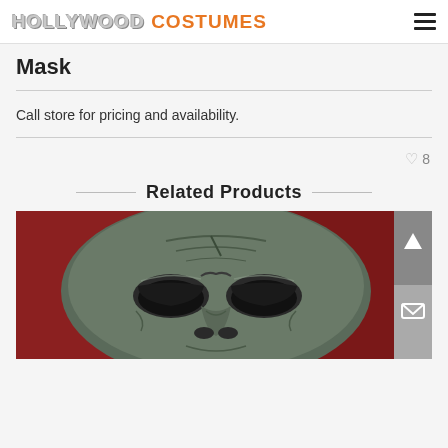HOLLYWOOD COSTUMES
Mask
Call store for pricing and availability.
❤ 8
Related Products
[Figure (photo): Close-up photo of a dark metallic villain mask with menacing eyes and textured surface, displayed on a red velvet background. Navigation buttons (scroll up, mail) visible on right side.]